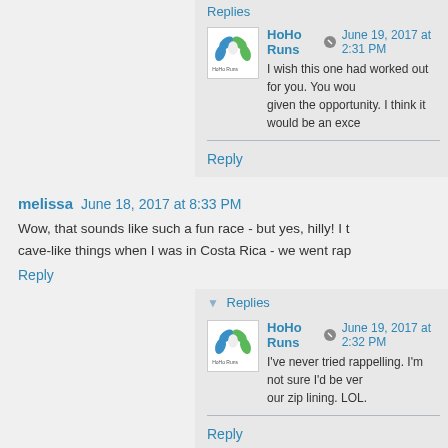Replies
HoHo Runs  June 19, 2017 at 2:31 PM
I wish this one had worked out for you. You would have given the opportunity. I think it would be an exce
Reply
melissa  June 18, 2017 at 8:33 PM
Wow, that sounds like such a fun race - but yes, hilly! I t cave-like things when I was in Costa Rica - we went rap
Reply
Replies
HoHo Runs  June 19, 2017 at 2:32 PM
I've never tried rappelling. I'm not sure I'd be ver our zip lining. LOL.
Reply